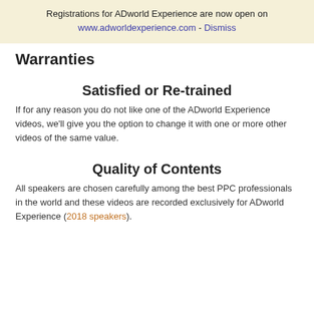Registrations for ADworld Experience are now open on www.adworldexperience.com - Dismiss
Warranties
Satisfied or Re-trained
If for any reason you do not like one of the ADworld Experience videos, we'll give you the option to change it with one or more other videos of the same value.
Quality of Contents
All speakers are chosen carefully among the best PPC professionals in the world and these videos are recorded exclusively for ADworld Experience (2018 speakers).